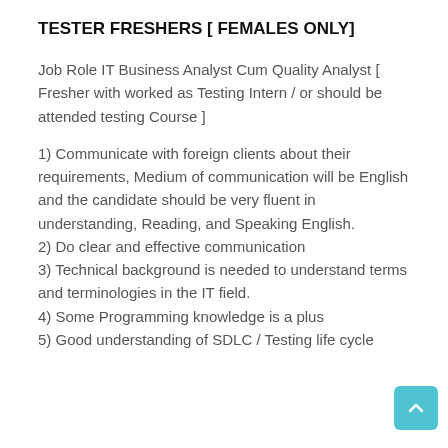TESTER FRESHERS [ FEMALES ONLY]
Job Role IT Business Analyst Cum Quality Analyst [ Fresher with worked as Testing Intern / or should be attended testing Course ]
1) Communicate with foreign clients about their requirements, Medium of communication will be English and the candidate should be very fluent in understanding, Reading, and Speaking English.
2) Do clear and effective communication
3) Technical background is needed to understand terms and terminologies in the IT field.
4) Some Programming knowledge is a plus
5) Good understanding of SDLC / Testing life cycle